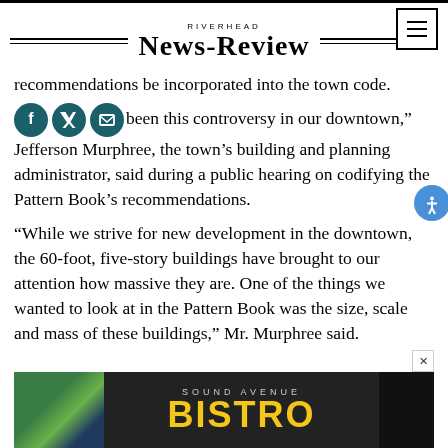RIVERHEAD NEWS-REVIEW
recommendations be incorporated into the town code.
“There has been this controversy in our downtown,” Jefferson Murphree, the town’s building and planning administrator, said during a public hearing on codifying the Pattern Book’s recommendations.
“While we strive for new development in the downtown, the 60-foot, five-story buildings have brought to our attention how massive they are. One of the things we wanted to look at in the Pattern Book was the size, scale and mass of these buildings,” Mr. Murphree said.
[Figure (other): Advertisement for Sound Avenue Bistro with dark background and yellow text]